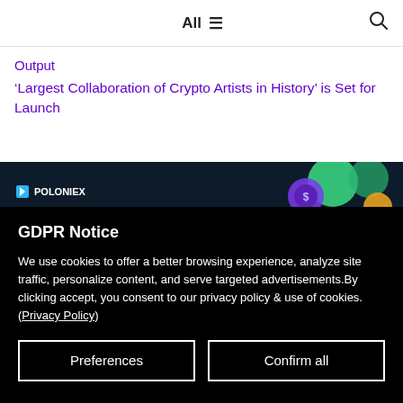All ☰    🔍
Output
'Largest Collaboration of Crypto Artists in History' is Set for Launch
[Figure (photo): Dark banner with Poloniex logo and decorative crypto coin graphics in purple, green, and orange on a dark background]
GDPR Notice
We use cookies to offer a better browsing experience, analyze site traffic, personalize content, and serve targeted advertisements.By clicking accept, you consent to our privacy policy & use of cookies. (Privacy Policy)
Preferences
Confirm all